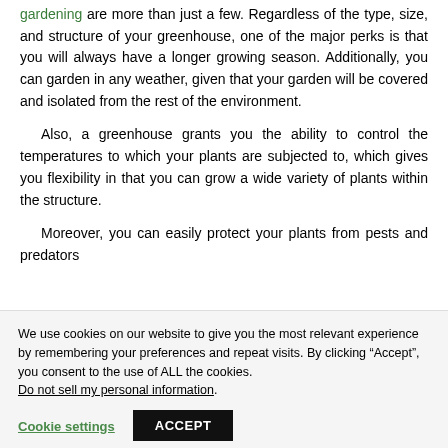gardening are more than just a few. Regardless of the type, size, and structure of your greenhouse, one of the major perks is that you will always have a longer growing season. Additionally, you can garden in any weather, given that your garden will be covered and isolated from the rest of the environment.
Also, a greenhouse grants you the ability to control the temperatures to which your plants are subjected to, which gives you flexibility in that you can grow a wide variety of plants within the structure.
Moreover, you can easily protect your plants from pests and predators
We use cookies on our website to give you the most relevant experience by remembering your preferences and repeat visits. By clicking “Accept”, you consent to the use of ALL the cookies.
Do not sell my personal information.
Cookie settings
ACCEPT